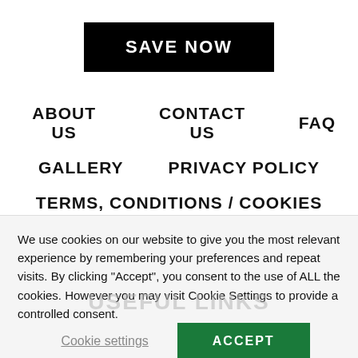[Figure (other): Black SAVE NOW button]
ABOUT US
CONTACT US
FAQ
GALLERY
PRIVACY POLICY
TERMS, CONDITIONS / COOKIES
We use cookies on our website to give you the most relevant experience by remembering your preferences and repeat visits. By clicking “Accept”, you consent to the use of ALL the cookies. However you may visit Cookie Settings to provide a controlled consent.
Cookie settings
ACCEPT